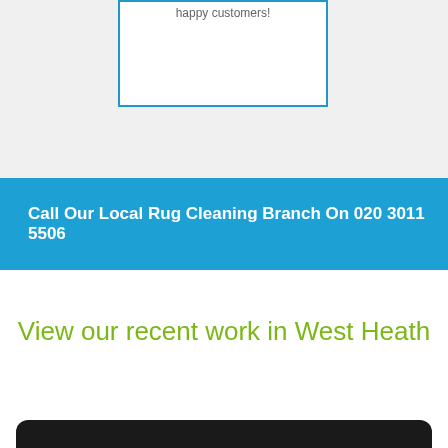happy customers!
Call Our Local Rug Cleaning Branch On 020 3011 5506
View our recent work in West Heath